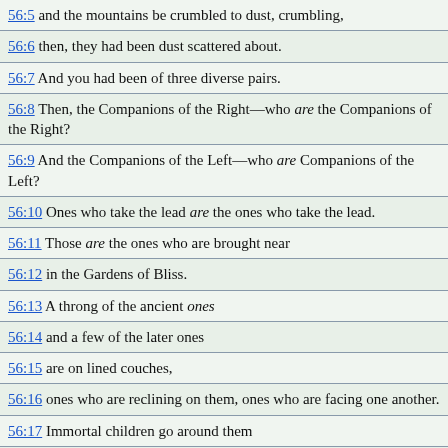56:5 and the mountains be crumbled to dust, crumbling,
56:6 then, they had been dust scattered about.
56:7 And you had been of three diverse pairs.
56:8 Then, the Companions of the Right—who are the Companions of the Right?
56:9 And the Companions of the Left—who are Companions of the Left?
56:10 Ones who take the lead are the ones who take the lead.
56:11 Those are the ones who are brought near
56:12 in the Gardens of Bliss.
56:13 A throng of the ancient ones
56:14 and a few of the later ones
56:15 are on lined couches,
56:16 ones who are reclining on them, ones who are facing one another.
56:17 Immortal children go around them
56:18 with cups and ewers and goblets from a spring of water.
56:19 Neither will they suffer headaches nor will they be